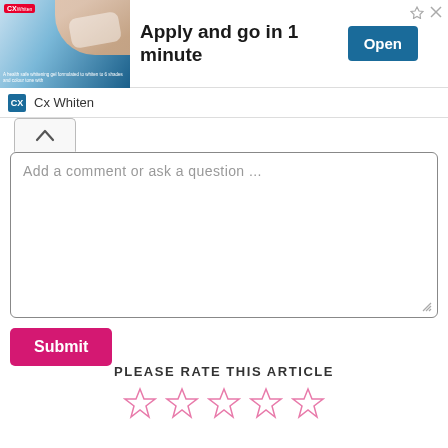[Figure (screenshot): Advertisement banner for Cx Whiten dental product — shows image of clear dental aligner, headline 'Apply and go in 1 minute', blue Open button, and Cx Whiten logo row below.]
Add a comment or ask a question ...
Submit
PLEASE RATE THIS ARTICLE